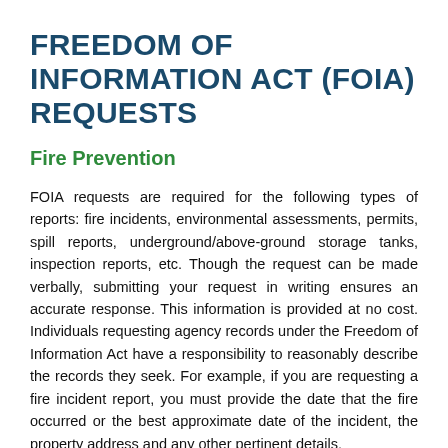FREEDOM OF INFORMATION ACT (FOIA) REQUESTS
Fire Prevention
FOIA requests are required for the following types of reports: fire incidents, environmental assessments, permits, spill reports, underground/above-ground storage tanks, inspection reports, etc. Though the request can be made verbally, submitting your request in writing ensures an accurate response. This information is provided at no cost. Individuals requesting agency records under the Freedom of Information Act have a responsibility to reasonably describe the records they seek. For example, if you are requesting a fire incident report, you must provide the date that the fire occurred or the best approximate date of the incident, the property address and any other pertinent details.